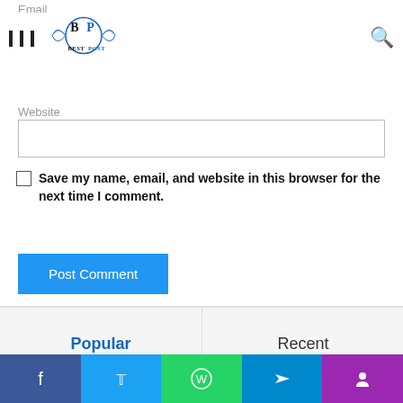Email
[Figure (logo): Best Post logo with BP letters in blue circle and decorative swirls]
Website
Save my name, email, and website in this browser for the next time I comment.
Post Comment
Popular
Recent
SkymoviesHD.in ||SkymoviesHD – Bangoli HD Bol Movies
Facebook  Twitter  WhatsApp  Telegram  Phone